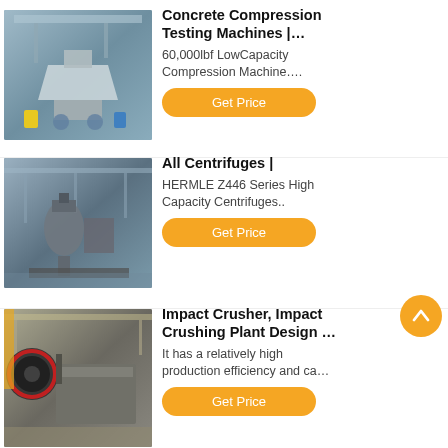[Figure (photo): Industrial concrete compression testing machine in factory]
Concrete Compression Testing Machines |…
60,000lbf LowCapacity Compression Machine….
Get Price
[Figure (photo): Large centrifuge equipment in industrial facility]
All Centrifuges |
HERMLE Z446 Series High Capacity Centrifuges..
Get Price
[Figure (photo): Impact crusher machine in manufacturing plant]
Impact Crusher, Impact Crushing Plant Design …
It has a relatively high production efficiency and ca…
Get Price